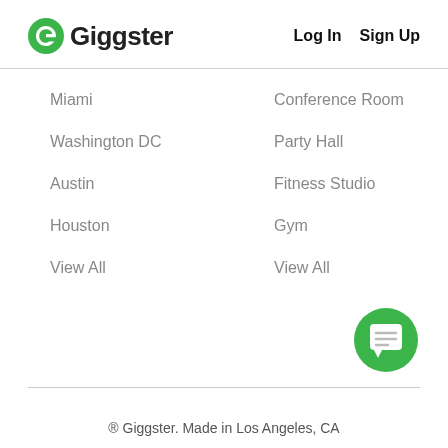Giggster   Log In   Sign Up
Miami
Washington DC
Austin
Houston
View All
Conference Room
Party Hall
Fitness Studio
Gym
View All
[Figure (illustration): Green circular chat button with white chat bubble icon]
® Giggster. Made in Los Angeles, CA